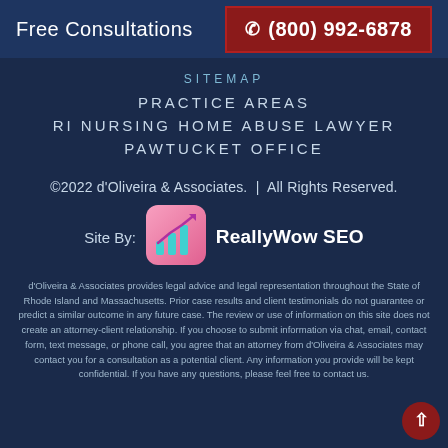Free Consultations
(800) 992-6878
SITEMAP
PRACTICE AREAS
RI NURSING HOME ABUSE LAWYER
PAWTUCKET OFFICE
©2022 d'Oliveira & Associates.  |  All Rights Reserved.
Site By:
[Figure (logo): ReallyWow SEO logo — pink rounded square with teal bar chart icon]
ReallyWow SEO
d'Oliveira & Associates provides legal advice and legal representation throughout the State of Rhode Island and Massachusetts. Prior case results and client testimonials do not guarantee or predict a similar outcome in any future case. The review or use of information on this site does not create an attorney-client relationship. If you choose to submit information via chat, email, contact form, text message, or phone call, you agree that an attorney from d'Oliveira & Associates may contact you for a consultation as a potential client. Any information you provide will be kept confidential. If you have any questions, please feel free to contact us.